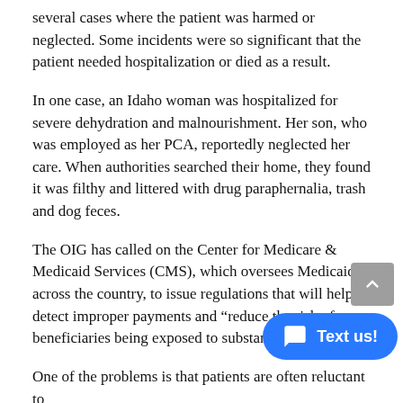several cases where the patient was harmed or neglected. Some incidents were so significant that the patient needed hospitalization or died as a result.
In one case, an Idaho woman was hospitalized for severe dehydration and malnourishment. Her son, who was employed as her PCA, reportedly neglected her care. When authorities searched their home, they found it was filthy and littered with drug paraphernalia, trash and dog feces.
The OIG has called on the Center for Medicare & Medicaid Services (CMS), which oversees Medicaid across the country, to issue regulations that will help detect improper payments and “reduce the risk of beneficiaries being exposed to substandard or otherwi…
One of the problems is that patients are often reluctant to